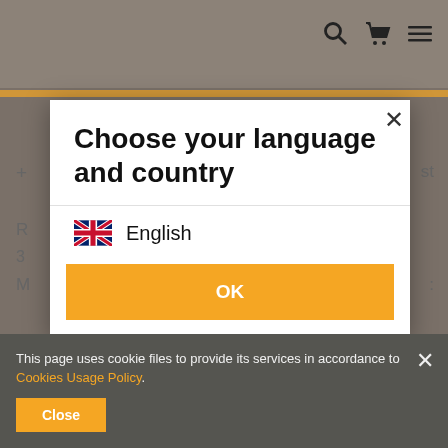[Figure (screenshot): E-commerce website screenshot with language/country selection modal overlay showing 'Choose your language and country' dialog with English (UK flag) option and OK button, quantity selector with '1' and 'Add to basket' orange button, and cookie consent banner at bottom reading 'This page uses cookie files to provide its services in accordance to Cookies Usage Policy.' with Close button]
Choose your language and country
English
OK
1
Add to basket
This page uses cookie files to provide its services in accordance to Cookies Usage Policy.
Close
Safe shopping